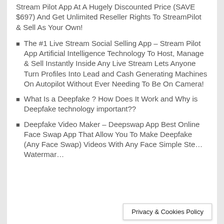Stream Pilot App At A Hugely Discounted Price (SAVE $697) And Get Unlimited Reseller Rights To StreamPilot & Sell As Your Own!
The #1 Live Stream Social Selling App – Stream Pilot App Artificial Intelligence Technology To Host, Manage & Sell Instantly Inside Any Live Stream Lets Anyone Turn Profiles Into Lead and Cash Generating Machines On Autopilot Without Ever Needing To Be On Camera!
What Is a Deepfake ? How Does It Work and Why is Deepfake technology important??
Deepfake Video Maker – Deepswap App Best Online Face Swap App That Allow You To Make Deepfake (Any Face Swap) Videos With Any Face Simple Ste… Watermar…
Privacy & Cookies Policy